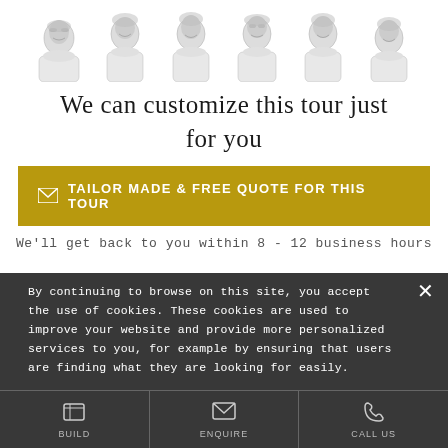[Figure (illustration): Six illustrated portrait headshots of Asian women in grayscale/sketch style arranged in a row]
We can customize this tour just for you
TAILOR MADE & FREE QUOTE FOR THIS TOUR
We'll get back to you within 8 - 12 business hours
By continuing to browse on this site, you accept the use of cookies. These cookies are used to improve your website and provide more personalized services to you, for example by ensuring that users are finding what they are looking for easily.
BUILD
ENQUIRE
CALL US